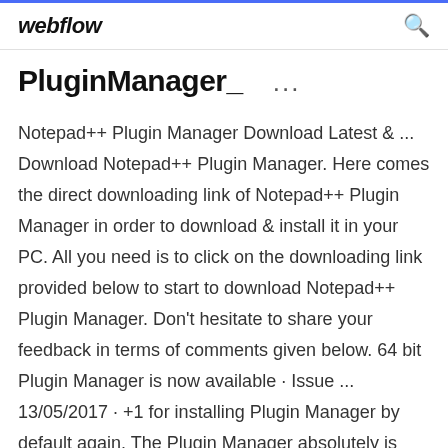webflow
PluginManager_     ...
Notepad++ Plugin Manager Download Latest & ... Download Notepad++ Plugin Manager. Here comes the direct downloading link of Notepad++ Plugin Manager in order to download & install it in your PC. All you need is to click on the downloading link provided below to start to download Notepad++ Plugin Manager. Don't hesitate to share your feedback in terms of comments given below. 64 bit Plugin Manager is now available · Issue ... 13/05/2017 · +1 for installing Plugin Manager by default again. The Plugin Manager absolutely is critical. Without it, there is no reason to use